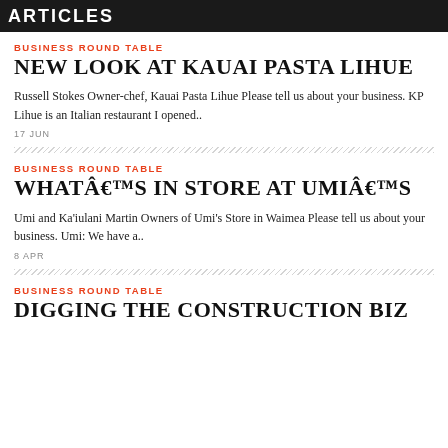ARTICLES
BUSINESS ROUND TABLE
NEW LOOK AT KAUAI PASTA LIHUE
Russell Stokes Owner-chef, Kauai Pasta Lihue Please tell us about your business. KP Lihue is an Italian restaurant I opened..
17 JUN
BUSINESS ROUND TABLE
WHATÂ€™S IN STORE AT UMIÂ€™S
Umi and Ka'iulani Martin Owners of Umi's Store in Waimea Please tell us about your business. Umi: We have a..
8 APR
BUSINESS ROUND TABLE
DIGGING THE CONSTRUCTION BIZ